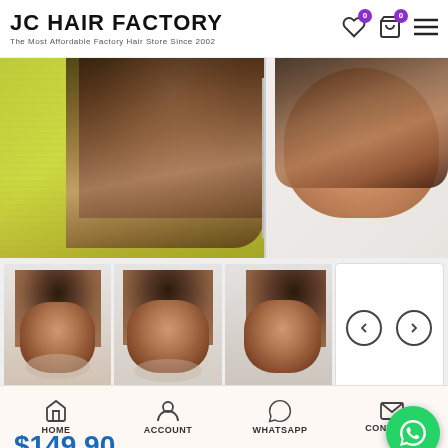JC HAIR FACTORY — The Most Affordable Factory Hair Store Since 2002
[Figure (photo): Main product photo showing ombre straight lace front bob wig on model wearing yellow top (left) and on mannequin head (right)]
[Figure (photo): Thumbnail gallery showing four views of ombre straight lace front bob wig with navigation arrows]
Ombre Straight Lace Front Bob Wigs
$149.90
Length:
HOME    ACCOUNT    WHATSAPP    CONTACTS